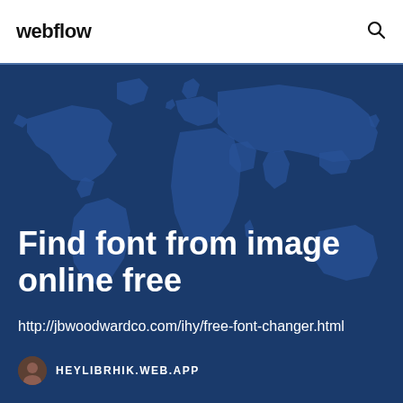webflow
[Figure (illustration): Dark blue world map background with lighter blue continent silhouettes]
Find font from image online free
http://jbwoodwardco.com/ihy/free-font-changer.html
HEYLIBRHIK.WEB.APP